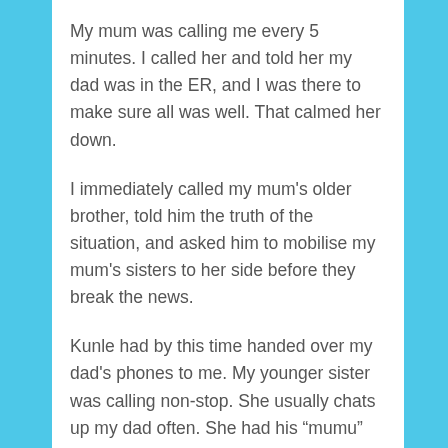My mum was calling me every 5 minutes. I called her and told her my dad was in the ER, and I was there to make sure all was well. That calmed her down.
I immediately called my mum's older brother, told him the truth of the situation, and asked him to mobilise my mum's sisters to her side before they break the news.
Kunle had by this time handed over my dad's phones to me. My younger sister was calling non-stop. She usually chats up my dad often. She had his “mumu” button. I picked the call, told her my dad was in the ER, and I was there to make sure all was well.
She was with my mum, and I needed my mum’s